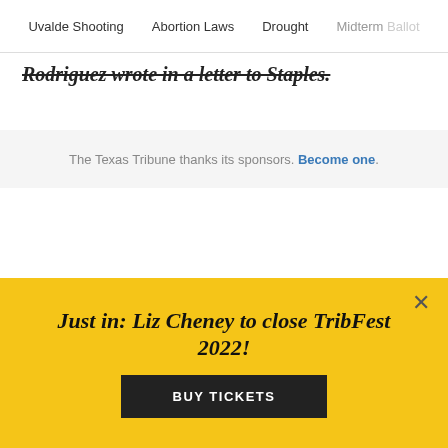Uvalde Shooting   Abortion Laws   Drought   Midterm Ballot
Rodriguez wrote in a letter to Staples.
The Texas Tribune thanks its sponsors. Become one.
Just in: Liz Cheney to close TribFest 2022!
BUY TICKETS